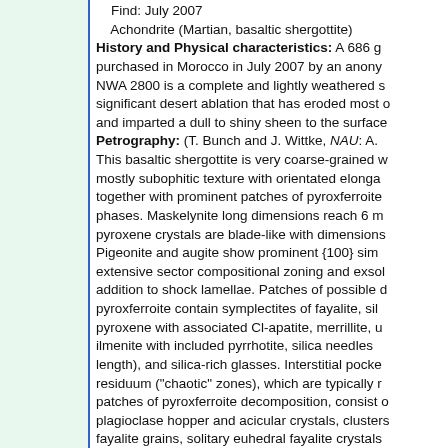Find: July 2007
    Achondrite (Martian, basaltic shergottite)
History and Physical characteristics: A 686 g purchased in Morocco in July 2007 by an anony NWA 2800 is a complete and lightly weathered s significant desert ablation that has eroded most c and imparted a dull to shiny sheen to the surface Petrography: (T. Bunch and J. Wittke, NAU: A. This basaltic shergottite is very coarse-grained w mostly subophitic texture with orientated elonga together with prominent patches of pyroxferroite phases. Maskelynite long dimensions reach 6 m pyroxene crystals are blade-like with dimensions Pigeonite and augite show prominent {100} sim extensive sector compositional zoning and exsol addition to shock lamellae. Patches of possible d pyroxferroite contain symplectites of fayalite, sil pyroxene with associated Cl-apatite, merrillite, u ilmenite with included pyrrhotite, silica needles length), and silica-rich glasses. Interstitial pocke residuum ("chaotic" zones), which are typically r patches of pyroxferroite decomposition, consist o plagioclase hopper and acicular crystals, clusters fayalite grains, solitary euhedral fayalite crystals and graphic intergrowths of silica and plagioclas